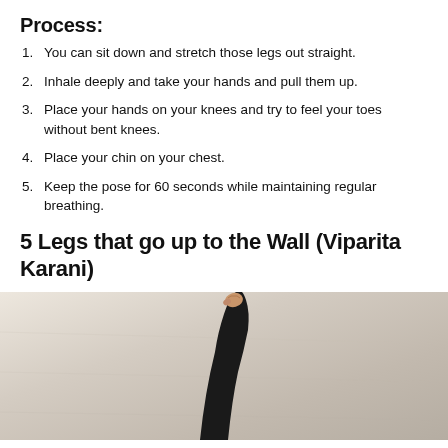Process:
You can sit down and stretch those legs out straight.
Inhale deeply and take your hands and pull them up.
Place your hands on your knees and try to feel your toes without bent knees.
Place your chin on your chest.
Keep the pose for 60 seconds while maintaining regular breathing.
5 Legs that go up to the Wall (Viparita Karani)
[Figure (photo): A person wearing black long sleeves raising one arm up toward the ceiling against a light stone/concrete wall background.]